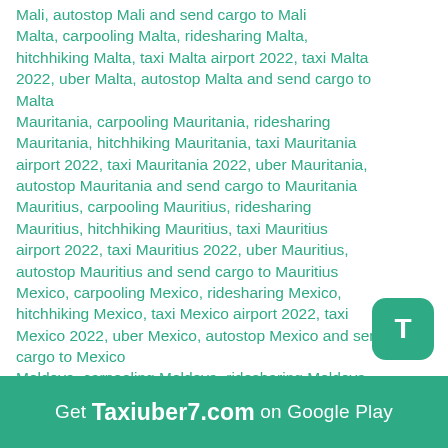Mali, autostop Mali and send cargo to Mali Malta, carpooling Malta, ridesharing Malta, hitchhiking Malta, taxi Malta airport 2022, taxi Malta 2022, uber Malta, autostop Malta and send cargo to Malta
Mauritania, carpooling Mauritania, ridesharing Mauritania, hitchhiking Mauritania, taxi Mauritania airport 2022, taxi Mauritania 2022, uber Mauritania, autostop Mauritania and send cargo to Mauritania
Mauritius, carpooling Mauritius, ridesharing Mauritius, hitchhiking Mauritius, taxi Mauritius airport 2022, taxi Mauritius 2022, uber Mauritius, autostop Mauritius and send cargo to Mauritius
Mexico, carpooling Mexico, ridesharing Mexico, hitchhiking Mexico, taxi Mexico airport 2022, taxi Mexico 2022, uber Mexico, autostop Mexico and send cargo to Mexico
Moldova, carpooling Moldova, ridesharing Moldova, hitchhiking Moldova, taxi Moldova airport 2022, taxi Moldova 2022, uber Moldova, autostop Moldova and send cargo to Moldova
Monaco, carpooling Monaco, ridesharing Monaco, hitchhiking Monaco, taxi Monaco airport 2022, taxi Monaco 2022, uber Monaco, autostop Monaco and send cargo to Monaco
Get Taxiuber7.com on Google Play